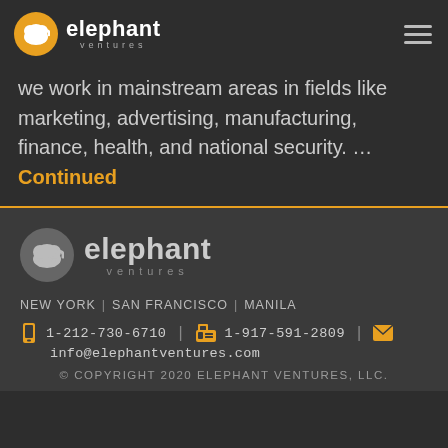elephant ventures
we work in mainstream areas in fields like marketing, advertising, manufacturing, finance, health, and national security. ... Continued
[Figure (logo): Elephant Ventures footer logo with gray circle containing elephant icon and 'elephant ventures' text]
NEW YORK | SAN FRANCISCO | MANILA
1-212-730-6710 | 1-917-591-2809
info@elephantventures.com
© COPYRIGHT 2020 ELEPHANT VENTURES, LLC.